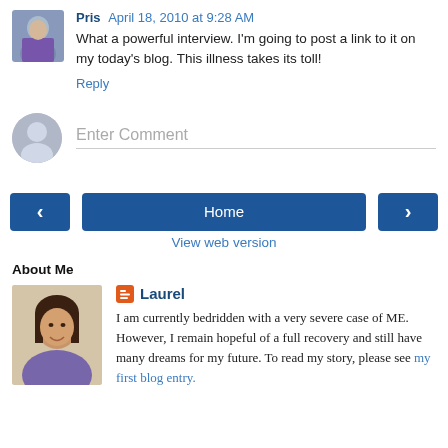Pris  April 18, 2010 at 9:28 AM
What a powerful interview. I'm going to post a link to it on my today's blog. This illness takes its toll!
Reply
Enter Comment
Home
View web version
About Me
Laurel
I am currently bedridden with a very severe case of ME. However, I remain hopeful of a full recovery and still have many dreams for my future. To read my story, please see my first blog entry.